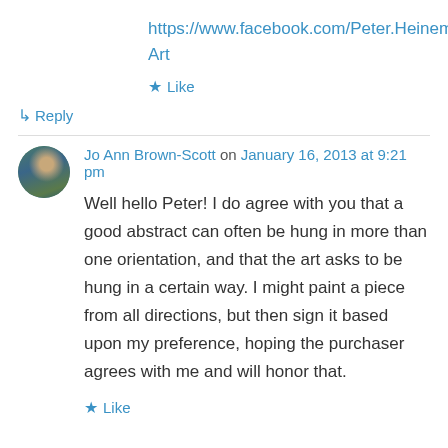https://www.facebook.com/Peter.Heineman.Fine.Art
★ Like
↳ Reply
Jo Ann Brown-Scott on January 16, 2013 at 9:21 pm
Well hello Peter! I do agree with you that a good abstract can often be hung in more than one orientation, and that the art asks to be hung in a certain way. I might paint a piece from all directions, but then sign it based upon my preference, hoping the purchaser agrees with me and will honor that.
★ Like